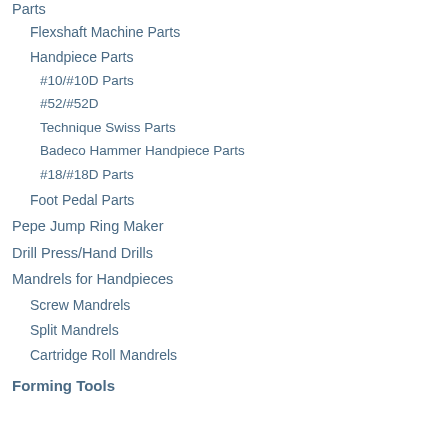Parts
Flexshaft Machine Parts
Handpiece Parts
#10/#10D Parts
#52/#52D
Technique Swiss Parts
Badeco Hammer Handpiece Parts
#18/#18D Parts
Foot Pedal Parts
Pepe Jump Ring Maker
Drill Press/Hand Drills
Mandrels for Handpieces
Screw Mandrels
Split Mandrels
Cartridge Roll Mandrels
Forming Tools